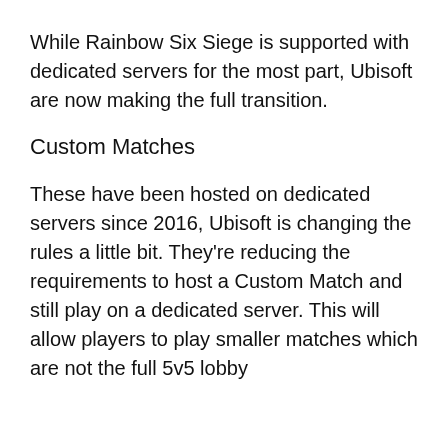While Rainbow Six Siege is supported with dedicated servers for the most part, Ubisoft are now making the full transition.
Custom Matches
These have been hosted on dedicated servers since 2016, Ubisoft is changing the rules a little bit. They're reducing the requirements to host a Custom Match and still play on a dedicated server. This will allow players to play smaller matches which are not the full 5v5 lobby